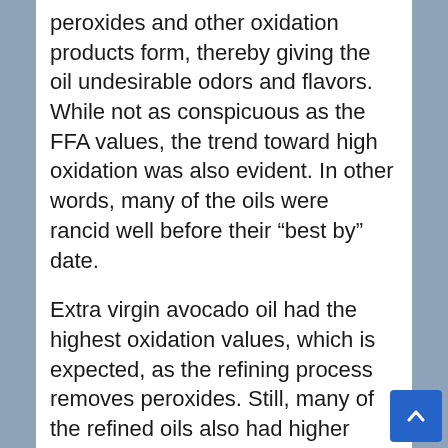peroxides and other oxidation products form, thereby giving the oil undesirable odors and flavors. While not as conspicuous as the FFA values, the trend toward high oxidation was also evident. In other words, many of the oils were rancid well before their “best by” date.
Extra virgin avocado oil had the highest oxidation values, which is expected, as the refining process removes peroxides. Still, many of the refined oils also had higher than expected peroxide levels. In fact, all but three samples were above Mexico’s CODEX cap.